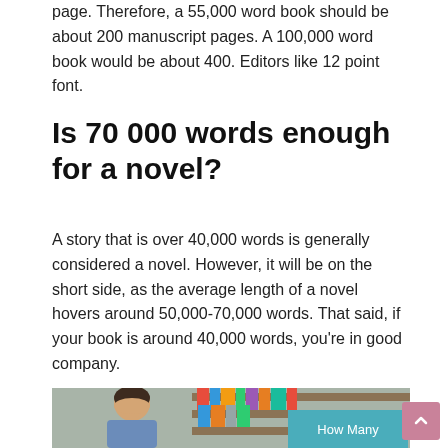page. Therefore, a 55,000 word book should be about 200 manuscript pages. A 100,000 word book would be about 400. Editors like 12 point font.
Is 70 000 words enough for a novel?
A story that is over 40,000 words is generally considered a novel. However, it will be on the short side, as the average length of a novel hovers around 50,000-70,000 words. That said, if your book is around 40,000 words, you're in good company.
[Figure (photo): Photo of a person in front of a bookshelf with a teal overlay box containing the text 'How Many']